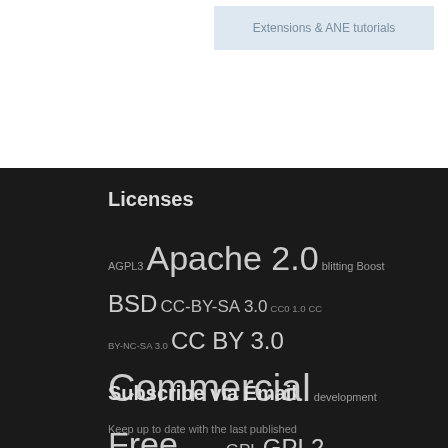[Figure (screenshot): Banner image showing 'Extensions & ANE tutorials' text on light blue background]
Licenses
AGPL3 Apache 2.0 blitting Boost BSD CC-BY-SA 3.0 CC0 1.0 CC BY-NC-SA 3.0 CC BY 3.0 Commercial development Free Free BSD GPL GPL2 GPL3 GPU IDE LGPL LGPL2 LGPL2.1 LGPL3 MIT Mozilla Public 1.1 Mozilla Public 2.0 Ms-PL New BSD Public Domain sfx Simplified BSD WTFPL zlib
Subscribe via Email
Keep up to date with the last published